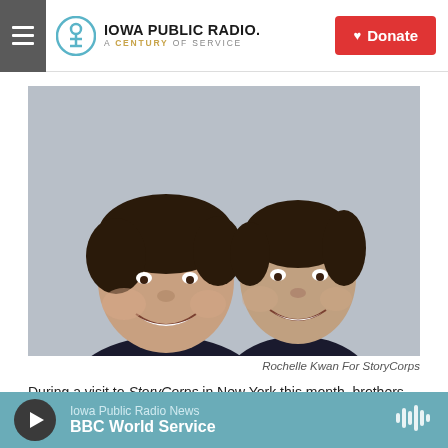Iowa Public Radio. A Century of Service | Donate
[Figure (photo): Two smiling men, brothers Raymond (left) and Derrick Storms, posing together for a portrait against a light gray background. Both wearing dark shirts.]
Rochelle Kwan For StoryCorps
During a visit to StoryCorps in New York this month, brothers Raymond (left) and Derrick Storms talk about how they opened up to each other later in life and unexpectedly built a close relationship.
Iowa Public Radio News | BBC World Service